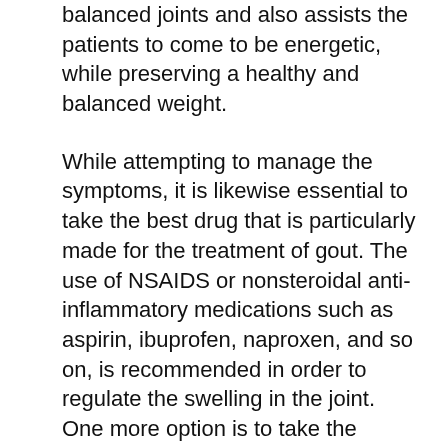balanced joints and also assists the patients to come to be energetic, while preserving a healthy and balanced weight.
While attempting to manage the symptoms, it is likewise essential to take the best drug that is particularly made for the treatment of gout. The use of NSAIDS or nonsteroidal anti-inflammatory medications such as aspirin, ibuprofen, naproxen, and so on, is recommended in order to regulate the swelling in the joint. One more option is to take the prescription lotion or the dental tablet of the advised dose of the medicine. While carrying out these self-management techniques it is important to remember that the gout arthritis attack can return if the medicine is quit suddenly; so it is best to